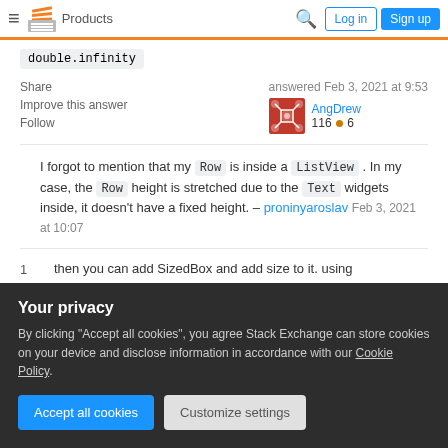≡  [StackOverflow logo]  Products  🔍  Log in  Sign up
double.infinity
Share  Improve this answer  Follow
answered Feb 3, 2021 at 9:53  AngDrew  116 • 6
I forgot to mention that my Row is inside a ListView . In my case, the Row height is stretched due to the Text widgets inside, it doesn't have a fixed height. – proninyaroslav  Feb 3, 2021 at 10:07
1  then you can add SizedBox and add size to it. using MediaQuery.of(context).size is
Your privacy
By clicking "Accept all cookies", you agree Stack Exchange can store cookies on your device and disclose information in accordance with our Cookie Policy.
Accept all cookies  Customize settings
maximum size of the Row (you ned SizedBox before the …  Feb 3, 2021 at 10:00